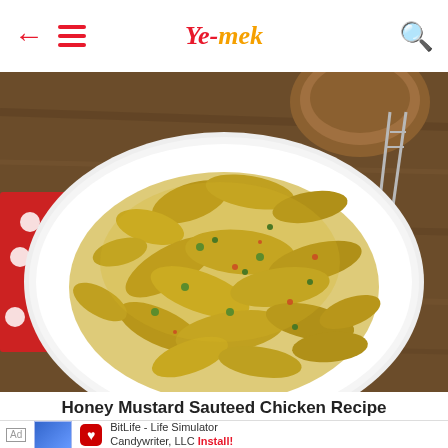Ye-mek (navigation bar with back arrow, menu, logo, and search icon)
[Figure (photo): Photo of Honey Mustard Sauteed Chicken Recipe — strips of chicken coated in a golden-yellow mustard sauce with herbs and spices, served on a white plate on a wooden surface with a red polka-dot napkin and fork visible in the background.]
Honey Mustard Sauteed Chicken Recipe
Ad  BitLife - Life Simulator  Candywriter, LLC  Install!